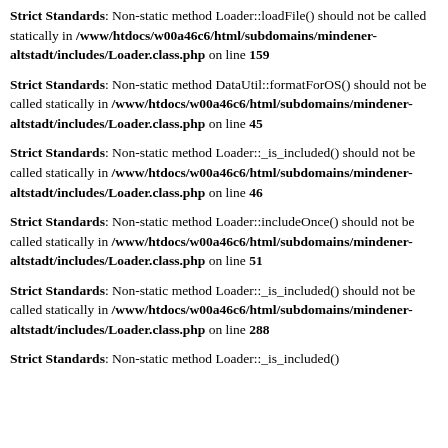Strict Standards: Non-static method Loader::loadFile() should not be called statically in /www/htdocs/w00a46c6/html/subdomains/mindener-altstadt/includes/Loader.class.php on line 159
Strict Standards: Non-static method DataUtil::formatForOS() should not be called statically in /www/htdocs/w00a46c6/html/subdomains/mindener-altstadt/includes/Loader.class.php on line 45
Strict Standards: Non-static method Loader::_is_included() should not be called statically in /www/htdocs/w00a46c6/html/subdomains/mindener-altstadt/includes/Loader.class.php on line 46
Strict Standards: Non-static method Loader::includeOnce() should not be called statically in /www/htdocs/w00a46c6/html/subdomains/mindener-altstadt/includes/Loader.class.php on line 51
Strict Standards: Non-static method Loader::_is_included() should not be called statically in /www/htdocs/w00a46c6/html/subdomains/mindener-altstadt/includes/Loader.class.php on line 288
Strict Standards: Non-static method Loader::_is_included()...